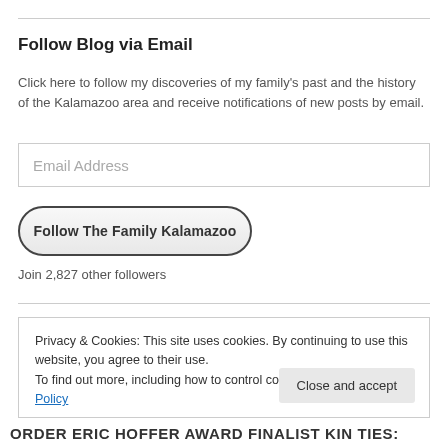Follow Blog via Email
Click here to follow my discoveries of my family's past and the history of the Kalamazoo area and receive notifications of new posts by email.
Email Address
Follow The Family Kalamazoo
Join 2,827 other followers
Privacy & Cookies: This site uses cookies. By continuing to use this website, you agree to their use.
To find out more, including how to control cookies, see here: Cookie Policy
Close and accept
ORDER ERIC HOFFER AWARD FINALIST KIN TIES: